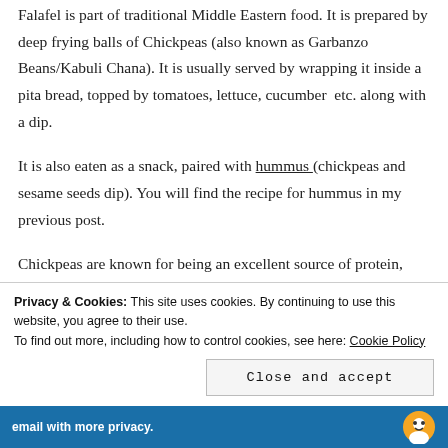Falafel is part of traditional Middle Eastern food. It is prepared by deep frying balls of Chickpeas (also known as Garbanzo Beans/Kabuli Chana). It is usually served by wrapping it inside a pita bread, topped by tomatoes, lettuce, cucumber  etc. along with a dip.
It is also eaten as a snack, paired with hummus (chickpeas and sesame seeds dip). You will find the recipe for hummus in my previous post.
Chickpeas are known for being an excellent source of protein, dietary fiber, folate and iron. They are also considered a moderate source of thiamin, magnesium and
Privacy & Cookies: This site uses cookies. By continuing to use this website, you agree to their use.
To find out more, including how to control cookies, see here: Cookie Policy
Close and accept
email with more privacy.